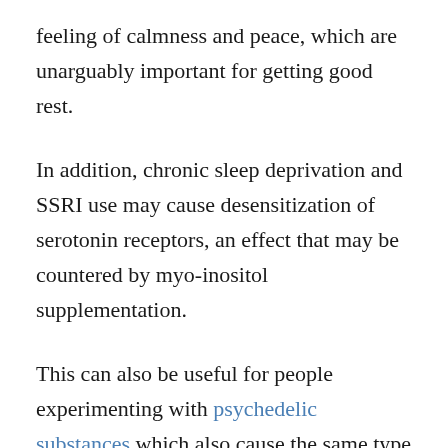feeling of calmness and peace, which are unarguably important for getting good rest.
In addition, chronic sleep deprivation and SSRI use may cause desensitization of serotonin receptors, an effect that may be countered by myo-inositol supplementation.
This can also be useful for people experimenting with psychedelic substances which also cause the same type of serotonin desensitization forcing the users to take breaks of 1-2 weeks between consecutive uses of substances such as LSD and Psilocybe (magic mushrooms). Perhaps inositol